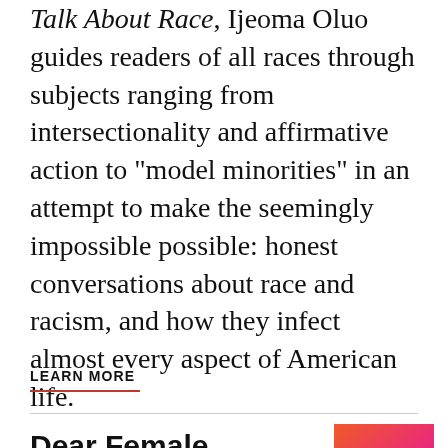Talk About Race, Ijeoma Oluo guides readers of all races through subjects ranging from intersectionality and affirmative action to "model minorities" in an attempt to make the seemingly impossible possible: honest conversations about race and racism, and how they infect almost every aspect of American life.
LEARN MORE
Dear Female Founder: 66 Letters of Advice from Women Entrepreneurs Who Have Made $1 Billion
[Figure (illustration): Book cover of 'Dear Female Founder' with pink, orange, and red gradient background, white bold title text centered]